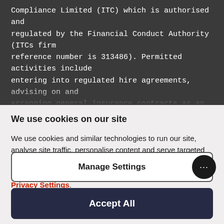Compliance Limited (ITC) which is authorised and regulated by the Financial Conduct Authority (ITCs firm reference number is 313486). Permitted activities include entering into regulated hire agreements, advising on and arranging general insurance contracts as an intermediary and acting as a credit broker not a lender. Finance is only
We use cookies on our site
We use cookies and similar technologies to run our site, analyse site traffic, personalise content and serve targeted ads. Find out more in our Privacy Policy. You can manage your cookie choices at any time in Privacy Settings.
Manage Settings
Accept All